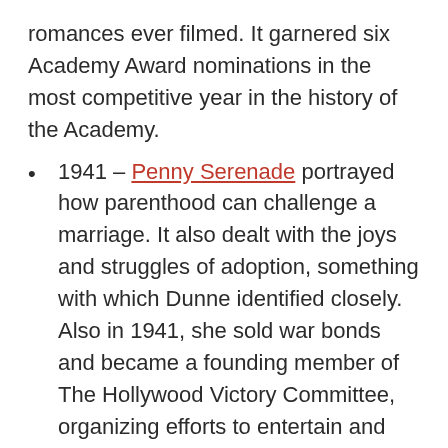romances ever filmed. It garnered six Academy Award nominations in the most competitive year in the history of the Academy.
1941 – Penny Serenade portrayed how parenthood can challenge a marriage. It also dealt with the joys and struggles of adoption, something with which Dunne identified closely. Also in 1941, she sold war bonds and became a founding member of The Hollywood Victory Committee, organizing efforts to entertain and encourage troops. She also appeared with the Chicago Symphony Orchestra and performed with the Philadelphia Symphony.
1944 – The White Cliffs of Dover was a war-time salute to our British allies. Dunne said, "I don't think it